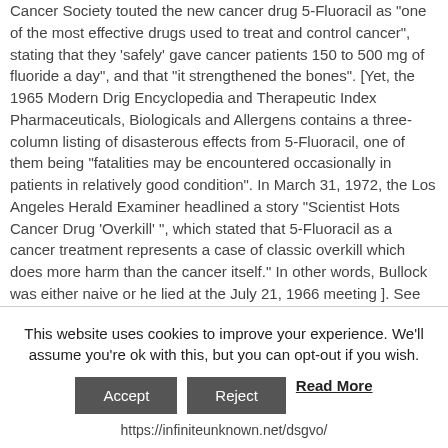Cancer Society touted the new cancer drug 5-Fluoracil as "one of the most effective drugs used to treat and control cancer", stating that they 'safely' gave cancer patients 150 to 500 mg of fluoride a day", and that "it strengthened the bones". [Yet, the 1965 Modern Drig Encyclopedia and Therapeutic Index Pharmaceuticals, Biologicals and Allergens contains a three-column listing of disasterous effects from 5-Fluoracil, one of them being "fatalities may be encountered occasionally in patients in relatively good condition". In March 31, 1972, the Los Angeles Herald Examiner headlined a story "Scientist Hots Cancer Drug 'Overkill' ", which stated that 5-Fluoracil as a cancer treatment represents a case of classic overkill which does more harm than the cancer itself." In other words, Bullock was either naive or he lied at the July 21, 1966 meeting ]. See 1969 LA Times.
1966 In February 1966, Dr. Robert Felix, former Director of the National Institute of Mental Health, addresses a
This website uses cookies to improve your experience. We'll assume you're ok with this, but you can opt-out if you wish.
Accept | Reject | Read More
https://infiniteunknown.net/dsgvo/